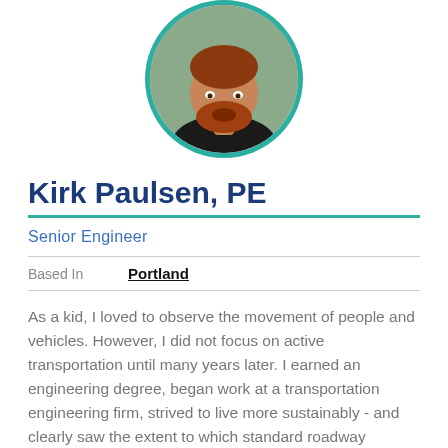[Figure (photo): Circular profile photo of Kirk Paulsen, a man with red hair and beard, wearing a black t-shirt, with a teal/green circular border]
Kirk Paulsen, PE
Senior Engineer
Based In   Portland
As a kid, I loved to observe the movement of people and vehicles. However, I did not focus on active transportation until many years later. I earned an engineering degree, began work at a transportation engineering firm, strived to live more sustainably - and clearly saw the extent to which standard roadway designs contribute to climate change.